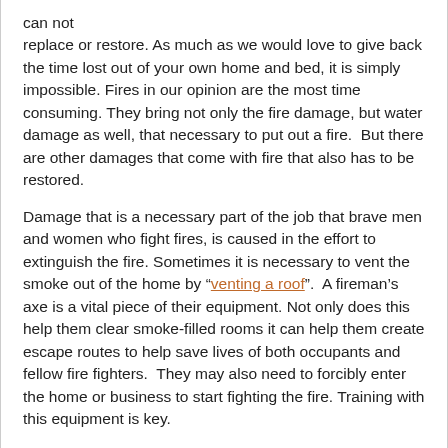can not replace or restore. As much as we would love to give back the time lost out of your own home and bed, it is simply impossible. Fires in our opinion are the most time consuming. They bring not only the fire damage, but water damage as well, that necessary to put out a fire.  But there are other damages that come with fire that also has to be restored.
Damage that is a necessary part of the job that brave men and women who fight fires, is caused in the effort to extinguish the fire. Sometimes it is necessary to vent the smoke out of the home by "venting a roof".  A fireman's axe is a vital piece of their equipment. Not only does this help them clear smoke-filled rooms it can help them create escape routes to help save lives of both occupants and fellow fire fighters.  They may also need to forcibly enter the home or business to start fighting the fire. Training with this equipment is key.
Some tips to keep in mind.
Prepare for the event of a fire. Know what the plan is to evacuate your home or office.